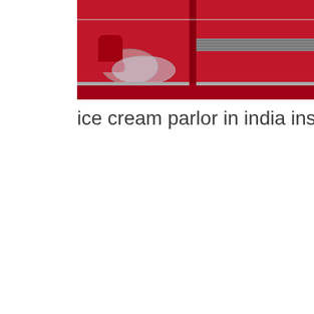[Figure (photo): Interior of an ice cream parlor with red cabinets and seating, viewed from inside the shop. Red glossy cabinets line the walls, a glass-top table with red chairs is visible on the left, and the floor is light-colored.]
ice cream parlor in india inspiration Adventure in India